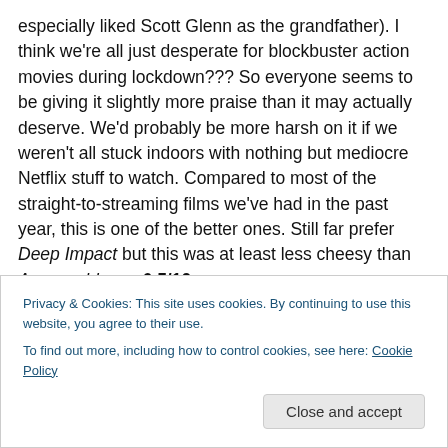especially liked Scott Glenn as the grandfather). I think we're all just desperate for blockbuster action movies during lockdown??? So everyone seems to be giving it slightly more praise than it may actually deserve. We'd probably be more harsh on it if we weren't all stuck indoors with nothing but mediocre Netflix stuff to watch. Compared to most of the straight-to-streaming films we've had in the past year, this is one of the better ones. Still far prefer Deep Impact but this was at least less cheesy than Armageddon. – 6.5/10
Privacy & Cookies: This site uses cookies. By continuing to use this website, you agree to their use. To find out more, including how to control cookies, see here: Cookie Policy
Close and accept